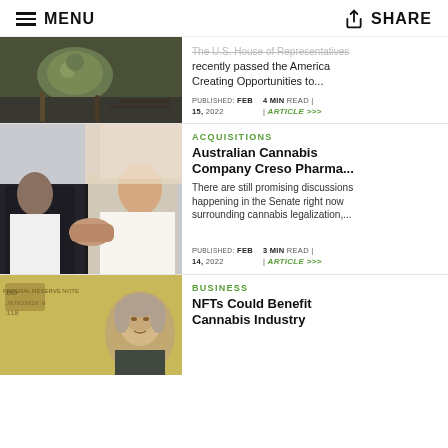MENU | SHARE
[Figure (photo): Cannabis bud on a dark wooden surface]
The U.S. House of Representatives recently passed the America Creating Opportunities to...
PUBLISHED: FEB 15, 2022   4 MIN READ | Article >>>
[Figure (photo): Two people shaking hands]
ACQUISITIONS
Australian Cannabis Company Creso Pharma...
There are still promising discussions happening in the Senate right now surrounding cannabis legalization,...
PUBLISHED: FEB 14, 2022   3 MIN READ | Article >>>
[Figure (photo): US hundred dollar bill close-up showing Benjamin Franklin]
BUSINESS
NFTs Could Benefit Cannabis Industry